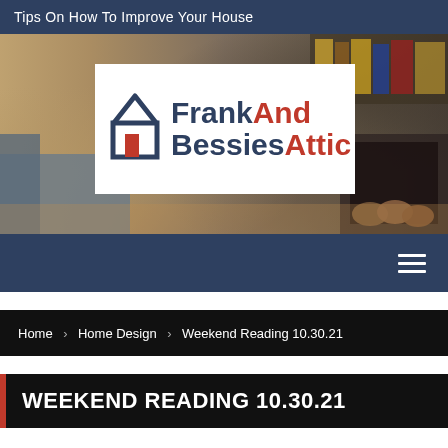Tips On How To Improve Your House
[Figure (logo): FrankAndBessiesAttic logo with house icon on white background over a blurred home interior photo background]
Navigation bar with hamburger menu icon
Home > Home Design > Weekend Reading 10.30.21
WEEKEND READING 10.30.21
November 11, 2021  Gladys Ratliff